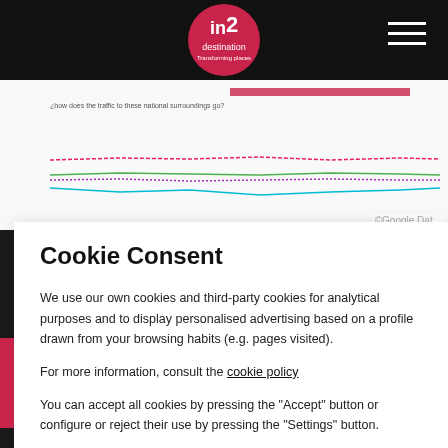[Figure (logo): in2destination logo - pink circle with white text on black navigation bar with hamburger menu icon]
[Figure (screenshot): Background chart partially visible behind cookie consent modal - appears to be a multi-line chart with legend, labeled Google Data Studio]
Cookie Consent
We use our own cookies and third-party cookies for analytical purposes and to display personalised advertising based on a profile drawn from your browsing habits (e.g. pages visited).
For more information, consult the cookie policy
You can accept all cookies by pressing the "Accept" button or configure or reject their use by pressing the "Settings" button.